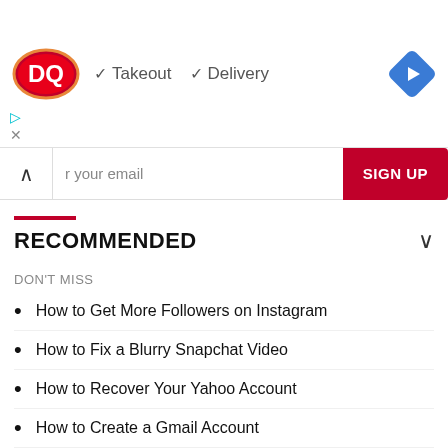[Figure (infographic): Dairy Queen (DQ) advertisement banner showing logo, checkmarks for Takeout and Delivery, and a blue navigation diamond icon]
r your email
SIGN UP
RECOMMENDED
DON'T MISS
How to Get More Followers on Instagram
How to Fix a Blurry Snapchat Video
How to Recover Your Yahoo Account
How to Create a Gmail Account
How to Get Free Diamonds in Free Fire
Facebook Code Not Received
How to Recover a Disabled Facebook Account
How to Disabled Write Protection on a USB
How to Upload High Quality Photos to Instagram